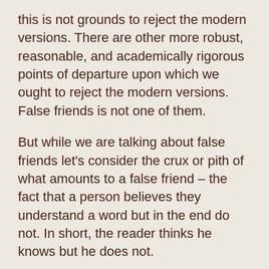this is not grounds to reject the modern versions. There are other more robust, reasonable, and academically rigorous points of departure upon which we ought to reject the modern versions. False friends is not one of them.
But while we are talking about false friends let's consider the crux or pith of what amounts to a false friend – the fact that a person believes they understand a word but in the end do not. In short, the reader thinks he knows but he does not.
Did you know that the modern critical text apparatus expresses this very thing?
Real quick. Anyone who is familiar with the critical text apparatus in the UBS 4th Rev or the N/A 28 knows